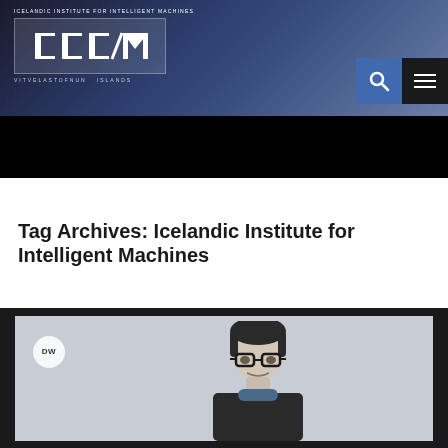[Figure (logo): Icelandic Institute for Intelligent Machines (IIIM) logo with white text on dark blue/grey gradient background header]
Tag Archives: Icelandic Institute for Intelligent Machines
[Figure (photo): Video still or photo showing a person (man with glasses and dark hair) outdoors, with DW logo watermark in top-left corner]